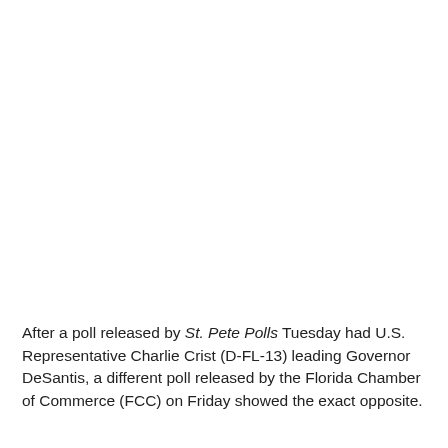After a poll released by St. Pete Polls Tuesday had U.S. Representative Charlie Crist (D-FL-13) leading Governor DeSantis, a different poll released by the Florida Chamber of Commerce (FCC) on Friday showed the exact opposite.